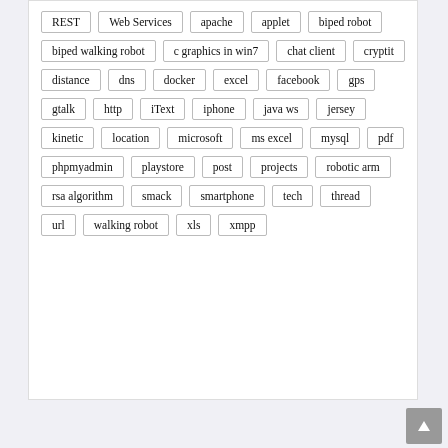REST, Web Services, apache, applet, biped robot, biped walking robot, c graphics in win7, chat client, cryptit, distance, dns, docker, excel, facebook, gps, gtalk, http, iText, iphone, java ws, jersey, kinetic, location, microsoft, ms excel, mysql, pdf, phpmyadmin, playstore, post, projects, robotic arm, rsa algorithm, smack, smartphone, tech, thread, url, walking robot, xls, xmpp